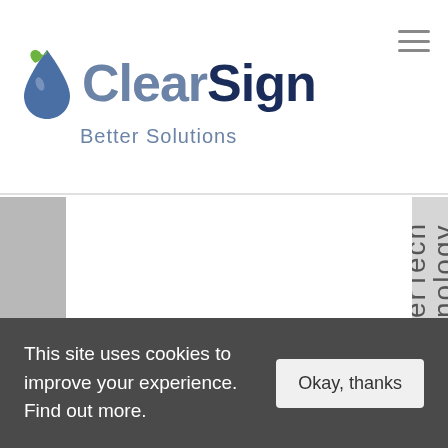[Figure (logo): ClearSign Better Solutions logo with water droplet icon in green and blue]
[Figure (other): Main content area showing a white panel with gray sidebar and vertical text reading 'erTechnology' on the right edge]
This site uses cookies to improve your experience. Find out more.
Okay, thanks